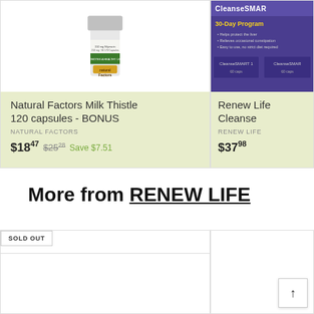[Figure (photo): Product image of Natural Factors Milk Thistle supplement bottle, 150mg Silymarin, 250mg-96 170 Capsules]
Natural Factors Milk Thistle 120 capsules - BONUS
NATURAL FACTORS
$18.47  $25.28  Save $7.51
[Figure (photo): Product image of Renew Life CleanseSMART 30-Day Program supplement packaging in purple]
Renew Life Cleanse
RENEW LIFE
$37.98
More from RENEW LIFE
SOLD OUT